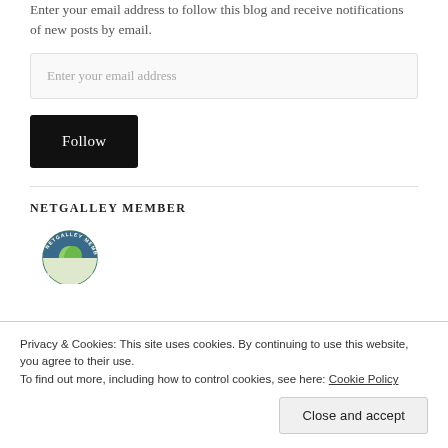Enter your email address to follow this blog and receive notifications of new posts by email.
Enter your email address
Follow
NETGALLEY MEMBER
[Figure (logo): NetGalley Member badge — circular badge with 'NETGALLEY MEMBER' text around a green leaf/book logo with stars]
Privacy & Cookies: This site uses cookies. By continuing to use this website, you agree to their use.
To find out more, including how to control cookies, see here: Cookie Policy
Close and accept